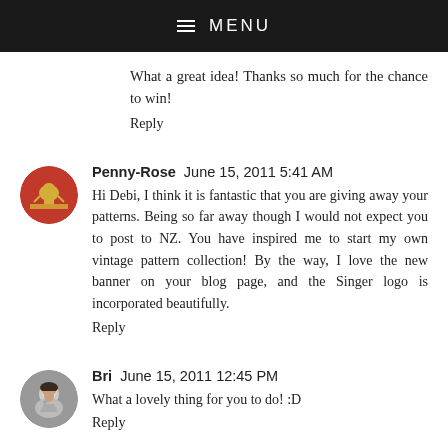≡ MENU
What a great idea! Thanks so much for the chance to win!
Reply
Penny-Rose  June 15, 2011 5:41 AM
Hi Debi, I think it is fantastic that you are giving away your patterns. Being so far away though I would not expect you to post to NZ. You have inspired me to start my own vintage pattern collection! By the way, I love the new banner on your blog page, and the Singer logo is incorporated beautifully.
Reply
Bri  June 15, 2011 12:45 PM
What a lovely thing for you to do! :D
Reply